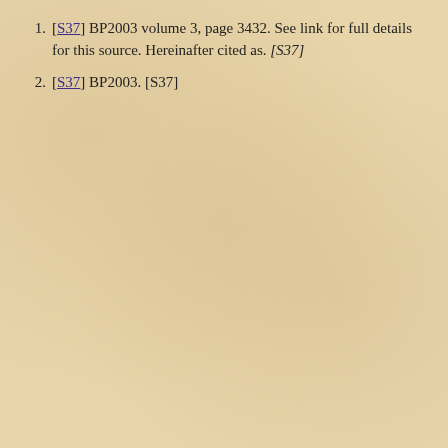[S37] BP2003 volume 3, page 3432. See link for full details for this source. Hereinafter cited as. [S37]
[S37] BP2003. [S37]